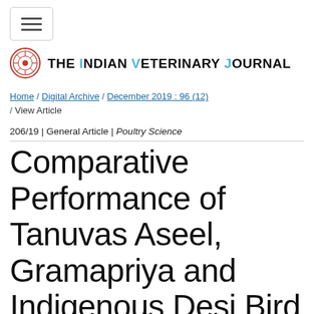[Figure (logo): Hamburger menu button icon with three horizontal lines]
THE INDIAN VETERINARY JOURNAL
Home / Digital Archive / December 2019 : 96 (12) / View Article
206/19 | General Article | Poultry Science
Comparative Performance of Tanuvas Aseel, Gramapriya and Indigenous Desi Bird